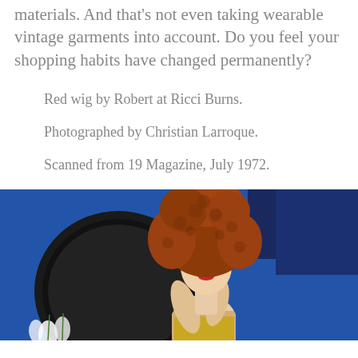materials. And that's not even taking wearable vintage garments into account. Do you feel your shopping habits have changed permanently?
Red wig by Robert at Ricci Burns.
Photographed by Christian Larroque.
Scanned from 19 Magazine, July 1972.
[Figure (photo): A woman with a voluminous curly red/auburn afro-style wig, pale skin and red lips, sitting with hands raised to her neck/chin, wearing what appears to be a yellow garment. She is posed in front of a large round dark mirror, against a vivid blue wall with a dark blue draped fabric. White flowers visible at bottom left.]